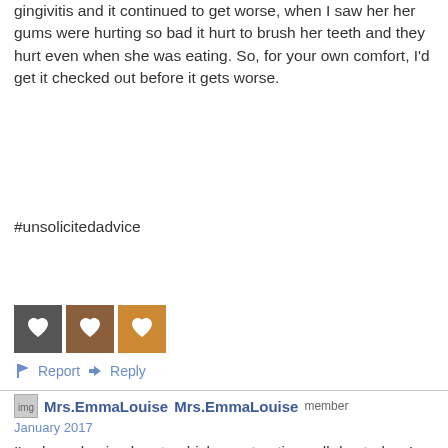gingivitis and it continued to get worse, when I saw her her gums were hurting so bad it hurt to brush her teeth and they hurt even when she was eating. So, for your own comfort, I'd get it checked out before it gets worse.
#unsolicitedadvice
[Figure (photo): Three small avatar thumbnail images side by side]
Report   Reply
Mrs.EmmaLouise  Mrs.EmmaLouise  member
January 2017
I've been having braxton hicks contractions all day today. Is anyone else having these? It seems SUPER early for this nonsense.
Report   Reply